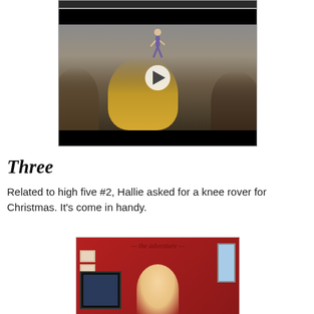[Figure (screenshot): Video player showing a dancer performing on stage viewed from behind audience members. A play button is visible in the center of the video.]
Three
Related to high five #2, Hallie asked for a knee rover for Christmas. It's come in handy.
[Figure (photo): Photo of a person in a room with a red wall, framed pictures, a TV, and a window.]